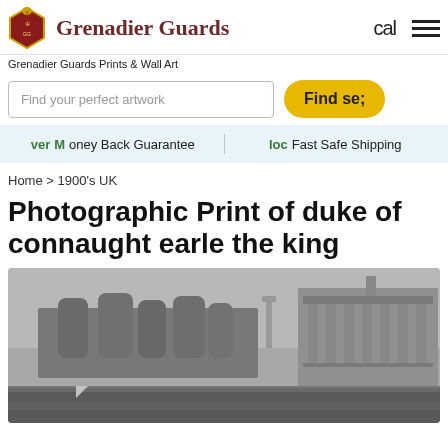Grenadier Guards | cal ☰
Grenadier Guards Prints & Wall Art
Find your perfect artwork
Find se;
ver Money Back Guarantee   loc Fast Safe Shipping
Home > 1900's UK
Photographic Print of duke of connaught earle the king
[Figure (photo): Historical black and white photographic print showing a military parade or gathering in front of a large classical building, with trees in the background and crowds of soldiers in formation.]